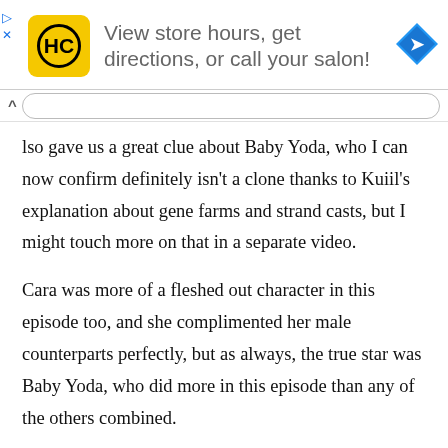[Figure (screenshot): Advertisement banner for a hair salon app/service showing HC logo, text 'View store hours, get directions, or call your salon!' and a blue navigation diamond icon.]
lso gave us a great clue about Baby Yoda, who I can now confirm definitely isn't a clone thanks to Kuiil's explanation about gene farms and strand casts, but I might touch more on that in a separate video.
Cara was more of a fleshed out character in this episode too, and she complimented her male counterparts perfectly, but as always, the true star was Baby Yoda, who did more in this episode than any of the others combined.